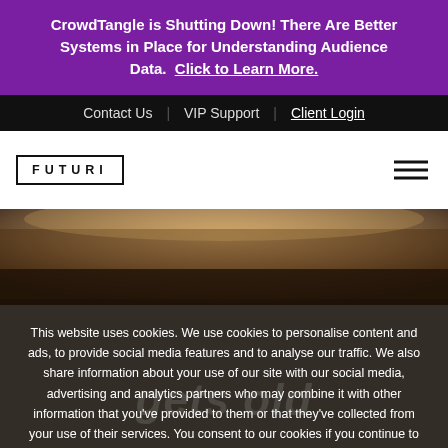CrowdTangle is Shutting Down! There Are Better Systems in Place for Understanding Audience Data.  Click to Learn More.
Contact Us  |  VIP Support  |  Client Login
[Figure (logo): FUTURI logo in bordered box with hamburger menu icon on right]
[Figure (photo): Stadium aerial photo with crowd, warm golden tones]
This website uses cookies. We use cookies to personalise content and ads, to provide social media features and to analyse our traffic. We also share information about your use of our site with our social media, advertising and analytics partners who may combine it with other information that you've provided to them or that they've collected from your use of their services. You consent to our cookies if you continue to use our website.
I Consent
gets old